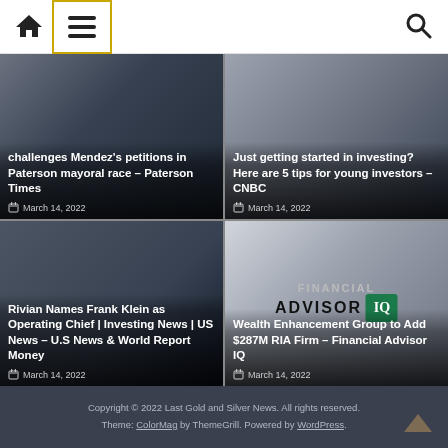Navigation bar with home, menu, and search icons
[Figure (screenshot): News article card: challenges Mendez's petitions in Paterson mayoral race – Paterson Times, March 14, 2022]
[Figure (screenshot): News article card: Just getting started in investing? Here are 5 tips for young investors – CNBC, March 14, 2022]
[Figure (screenshot): News article card: Rivian Names Frank Klein as Operating Chief | Investing News | US News – U.S News & World Report Money, March 14, 2022]
[Figure (screenshot): News article card: Wealth Enhancement Group to Add $287M RIA Firm – Financial Advisor IQ, March 14, 2022. Shows Financial Advisor IQ logo.]
Copyright © 2022 Last Gold and Silver News. All rights reserved. Theme: ColorMag by ThemeGrill. Powered by WordPress.